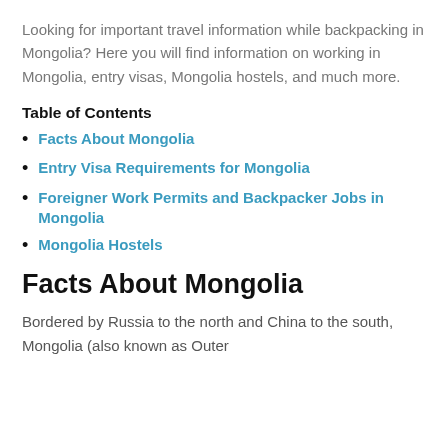Looking for important travel information while backpacking in Mongolia? Here you will find information on working in Mongolia, entry visas, Mongolia hostels, and much more.
Table of Contents
Facts About Mongolia
Entry Visa Requirements for Mongolia
Foreigner Work Permits and Backpacker Jobs in Mongolia
Mongolia Hostels
Facts About Mongolia
Bordered by Russia to the north and China to the south, Mongolia (also known as Outer